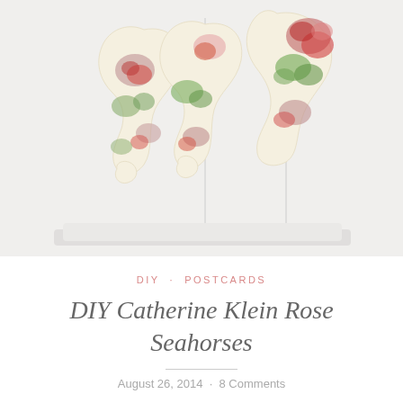[Figure (illustration): Three decorative seahorse shapes with floral rose patterns by Catherine Klein, displayed in a light gray panel with vertical dividers between each seahorse.]
DIY · POSTCARDS
DIY Catherine Klein Rose Seahorses
August 26, 2014 · 8 Comments
Did you think the birdies and the hearts were sweet as sugar? Then you'll be drooling again when I present you with my Catherine Klein Rose Seahorses: Luckily, all you have to do to make these yourself, is download my printable from the folder below, and follow the